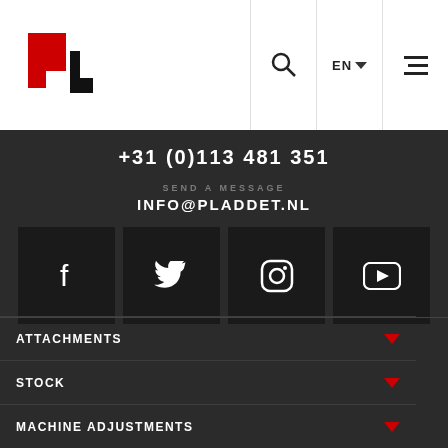[Figure (logo): Pladdet company logo in red and black]
+31 (0)113 481 351
SEND A MESSAGE
INFO@PLADDET.NL
[Figure (infographic): Social media icons row: Facebook, Twitter, Instagram, YouTube]
ATTACHMENTS
STOCK
MACHINE ADJUSTMENTS